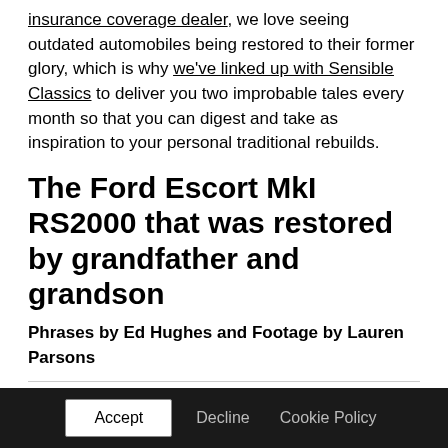insurance coverage dealer, we love seeing outdated automobiles being restored to their former glory, which is why we've linked up with Sensible Classics to deliver you two improbable tales every month so that you can digest and take as inspiration to your personal traditional rebuilds.
The Ford Escort MkI RS2000 that was restored by grandfather and grandson
Phrases by Ed Hughes and Footage by Lauren Parsons
Accept  Decline  Cookie Policy